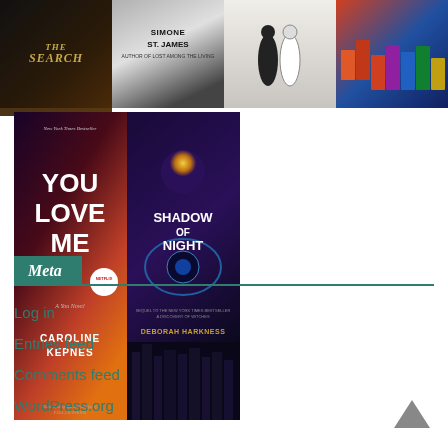[Figure (photo): Row of four book covers: The Search (dark/gold), Simone St. James book (gray/dark), a black and white cover with two people, and a colorful illustrated town scene]
[Figure (photo): Two book covers side by side: 'You Love Me' by Caroline Kepnes (dark with orange/red gradient, Netflix badge) and 'Shadow of Night' by Deborah Harkness (dark purple/blue with sun and eye motif)]
Meta
Log in
Entries feed
Comments feed
WordPress.org